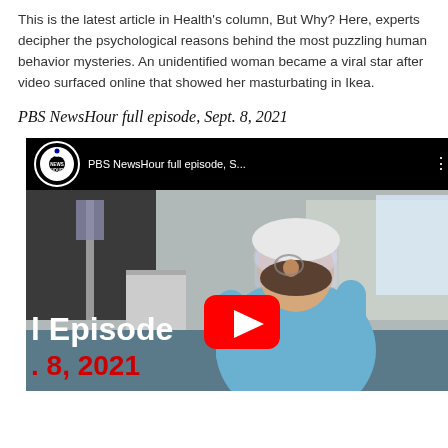This is the latest article in Health's column, But Why? Here, experts decipher the psychological reasons behind the most puzzling human behavior mysteries. An unidentified woman became a viral star after video surfaced online that showed her masturbating in Ikea.
PBS NewsHour full episode, Sept. 8, 2021
[Figure (screenshot): YouTube video thumbnail for PBS NewsHour full episode, Sept. 8, 2021. Shows a healthcare worker in PPE including face shield and blue gown. The video player bar shows PBS NewsHour logo and truncated title 'PBS NewsHour full episode, S...' with a red YouTube play button overlay. Text overlay reads 'l Episode' and '. 8, 2021' in red.]